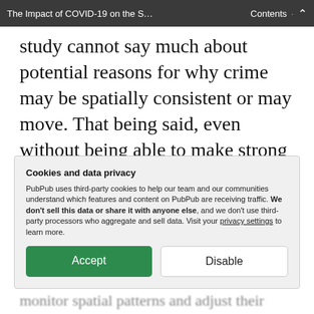The Impact of COVID-19 on the S...   Contents
study cannot say much about potential reasons for why crime may be spatially consistent or may move. That being said, even without being able to make strong causal statements, it is still relatively useful from a policy perspective – specifically when considering a hot spot
Cookies and data privacy
PubPub uses third-party cookies to help our team and our communities understand which features and content on PubPub are receiving traffic. We don't sell this data or share it with anyone else, and we don't use third-party processors who aggregate and sell data. Visit your privacy settings to learn more.
monitor spatial patterns and adjust their